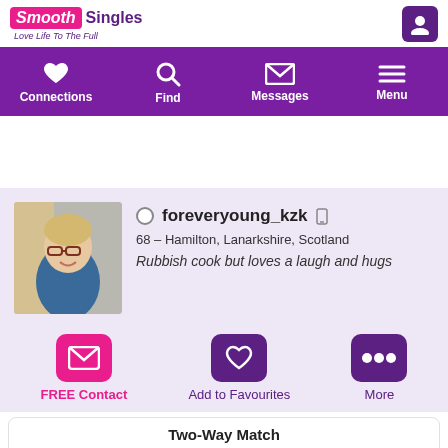Smooth Singles - Love Life To The Full
[Figure (screenshot): Navigation bar with icons for Connections (heart), Find (magnifier), Messages (envelope), Menu (hamburger)]
[Figure (photo): Profile photo of an older woman with glasses and blonde hair]
foreveryoung_kzk
68 – Hamilton, Lanarkshire, Scotland
Rubbish cook but loves a laugh and hugs
FREE Contact
Add to Favourites
More
Two-Way Match
7%